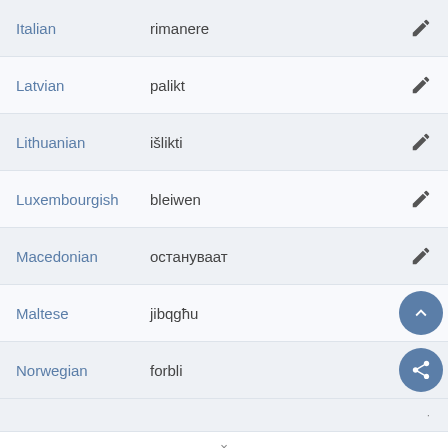| Language | Translation |  |
| --- | --- | --- |
| Italian | rimanere | edit |
| Latvian | palikt | edit |
| Lithuanian | išlikti | edit |
| Luxembourgish | bleiwen | edit |
| Macedonian | остануваат | edit |
| Maltese | jibqgħu | scroll-up |
| Norwegian | forbli | share |